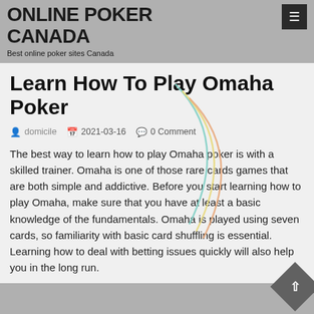ONLINE POKER CANADA
Best online poker sites Canada
Learn How To Play Omaha Poker
domicile  2021-03-16  0 Comment
The best way to learn how to play Omaha poker is with a skilled trainer. Omaha is one of those rare cards games that are both simple and addictive. Before you start learning how to play Omaha, make sure that you have at least a basic knowledge of the fundamentals. Omaha is played using seven cards, so familiarity with basic card shuffling is essential. Learning how to deal with betting issues quickly will also help you in the long run.